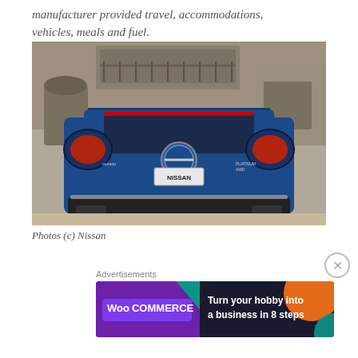manufacturer provided travel, accommodations, vehicles, meals and fuel.
[Figure (photo): Rear view of a blue Nissan SUV (Murano/Pathfinder Platinum AWD) parked on a stone driveway in front of a large stone house. The vehicle's license plate area reads NISSAN.]
Photos (c) Nissan
Advertisements
[Figure (screenshot): WooCommerce advertisement banner with purple and dark background, teal and orange geometric shapes. Text: 'Turn your hobby into a business in 8 steps']